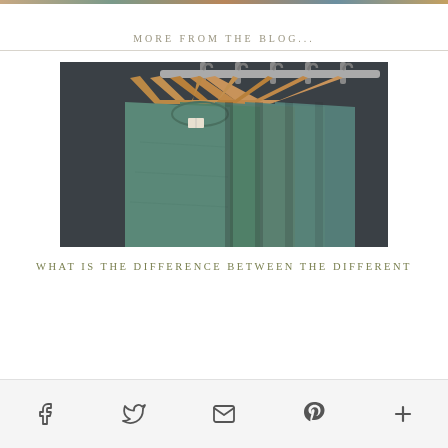[Figure (photo): Colorful image strip at top of page showing various items]
MORE FROM THE BLOG...
[Figure (photo): Several sage/teal colored t-shirts hanging on wooden hangers against a dark gray background]
WHAT IS THE DIFFERENCE BETWEEN THE DIFFERENT
[Figure (infographic): Social media sharing bar with Facebook, Twitter, Email, Pinterest, and More icons]